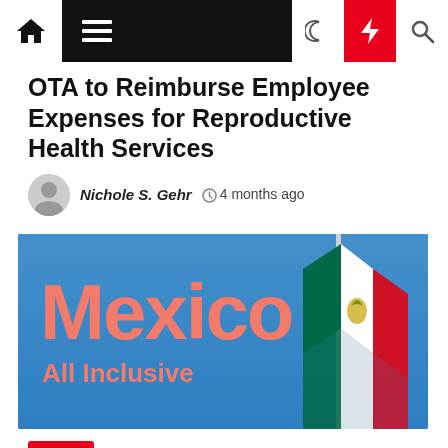Navigation bar with home, menu, dark mode, lightning, and search icons
OTA to Reimburse Employee Expenses for Reproductive Health Services
Nichole S. Gehr  4 months ago
[Figure (photo): Image with blue sky background, large pink/salmon text reading 'Mexico' and subtitle 'All Inclusive', with a Mexican flag on a pole on the right side]
Travel